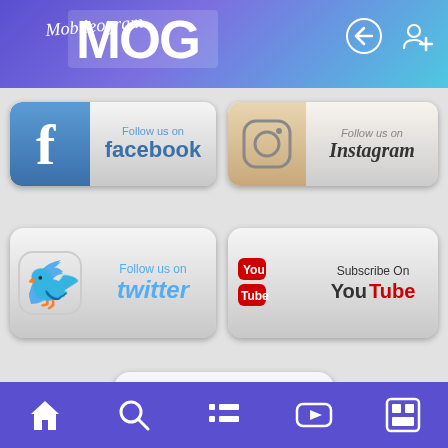Mobileogram
[Figure (screenshot): Follow us on Facebook button]
[Figure (screenshot): Follow us on Instagram button]
[Figure (screenshot): Follow us on Twitter button]
[Figure (screenshot): Subscribe On YouTube button]
[Figure (screenshot): Follow us on Pinterest button]
[Figure (screenshot): Facebook and Instagram social media icons]
Copyright © 2019 Mobileogram. All rights reserved
Mobiles 360 Views
Advertise
Sitemap
Terms & Conditions
Privacy Policy
Contact Us
About Us
Home
Navigation bar with home, search, list, video, and news icons